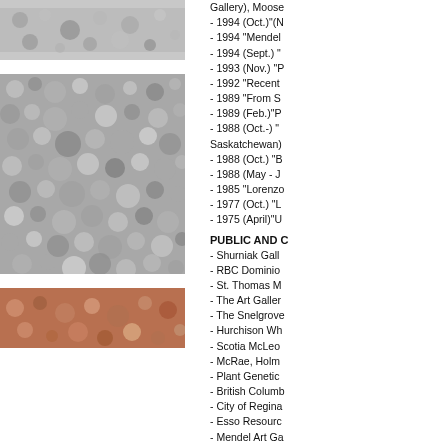[Figure (photo): Close-up photograph of gravel or stone texture, top strip]
Gallery), Moose
- 1994 (Oct.)"(N
- 1994 "Mendel
- 1994 (Sept.) "
- 1993 (Nov.) "P
- 1992 "Recent
- 1989 "From S
- 1989 (Feb.)"P
- 1988 (Oct.-) "
Saskatchewan)
- 1988 (Oct.) "B
- 1988 (May - J
- 1985 "Lorenzo
- 1977 (Oct.) "L
- 1975 (April)"U
[Figure (photo): Close-up photograph of gravel or stone texture, large middle image]
PUBLIC AND C
- Shurniak Gall
- RBC Dominio
- St. Thomas M
- The Art Galler
- The Snelgrove
- Hurchison Wh
- Scotia McLeo
- McRae, Holm
- Plant Genetic
- British Columb
- City of Regina
- Esso Resourc
- Mendel Art Ga
- Saskatchewa
- SaskTel, Regi
- Power Plant M
[Figure (photo): Close-up photograph of reddish-brown stone or pebble texture, bottom strip]